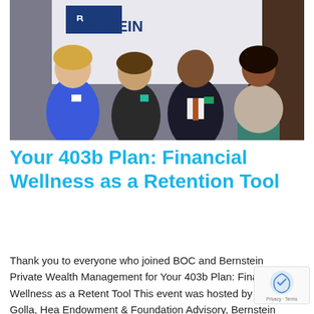[Figure (photo): Four people standing together in front of a Bernstein sign/backdrop. Left to right: a woman in a blue sleeveless dress with name badge, a woman in a dark blazer with name badge, a man in a dark suit with tie and name badge, and a young woman in a patterned jacket and teal skirt.]
Your 403b Plan: Financial Wellness as a Retention Tool
Thank you to everyone who joined BOC and Bernstein Private Wealth Management for Your 403b Plan: Financial Wellness as a Retention Tool This event was hosted by Clare Golla, Head Endowment & Foundation Advisory, Bernstein